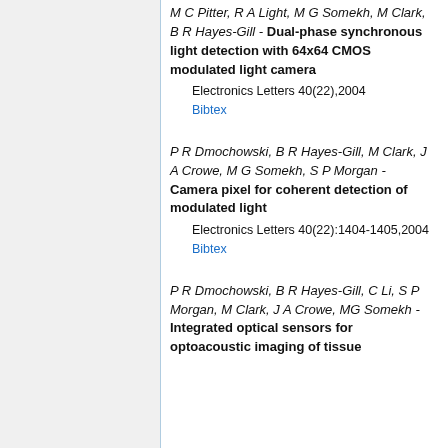M C Pitter, R A Light, M G Somekh, M Clark, B R Hayes-Gill - Dual-phase synchronous light detection with 64x64 CMOS modulated light camera
Electronics Letters 40(22),2004
Bibtex
P R Dmochowski, B R Hayes-Gill, M Clark, J A Crowe, M G Somekh, S P Morgan - Camera pixel for coherent detection of modulated light
Electronics Letters 40(22):1404-1405,2004
Bibtex
P R Dmochowski, B R Hayes-Gill, C Li, S P Morgan, M Clark, J A Crowe, MG Somekh - Integrated optical sensors for optoacoustic imaging of tissue